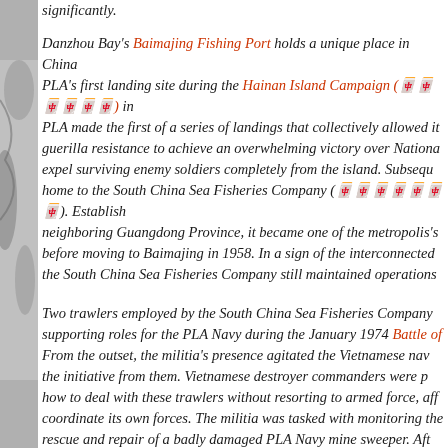significantly.
Danzhou Bay's Baimajing Fishing Port holds a unique place in China as the PLA's first landing site during the Hainan Island Campaign (海南岛战役) in ... PLA made the first of a series of landings that collectively allowed it ... guerilla resistance to achieve an overwhelming victory over Nationa... expel surviving enemy soldiers completely from the island. Subsequently home to the South China Sea Fisheries Company (南海水产公司). Established neighboring Guangdong Province, it became one of the metropolis's ... before moving to Baimajing in 1958. In a sign of the interconnected ... the South China Sea Fisheries Company still maintained operations...
Two trawlers employed by the South China Sea Fisheries Company... supporting roles for the PLA Navy during the January 1974 Battle of... From the outset, the militia's presence agitated the Vietnamese nav... the initiative from them. Vietnamese destroyer commanders were p... how to deal with these trawlers without resorting to armed force, aff... coordinate its own forces. The militia was tasked with monitoring the... rescue and repair of a badly damaged PLA Navy mine sweeper. Aft... Vietnamese flotilla, the two trawlers provided transportation for 500... an amphibious reconnaissance team from the Hainan military distri... Vietnamese-occupied features. The Vietnamese hold-outs on the is...